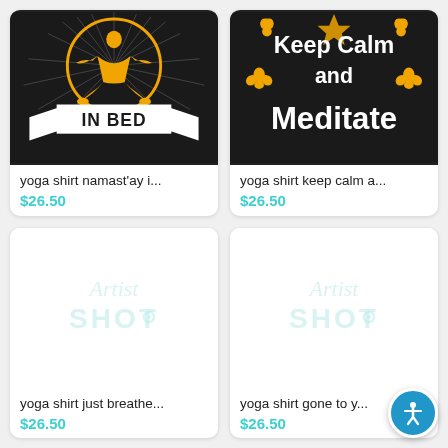[Figure (illustration): Yoga shirt product card 1: dark background with golden yoga meditating figure and 'IN BED' banner text]
yoga shirt namast'ay i...
$26.50
[Figure (illustration): Yoga shirt product card 2: dark background with 'Keep Calm and Meditate' text and orange lotus flowers]
yoga shirt keep calm a...
$26.50
[Figure (logo): Artist Shot watermark placeholder image for yoga shirt just breathe product]
yoga shirt just breathe...
$26.50
[Figure (logo): Artist Shot watermark placeholder image for yoga shirt gone to product]
yoga shirt gone to y...
$26.50